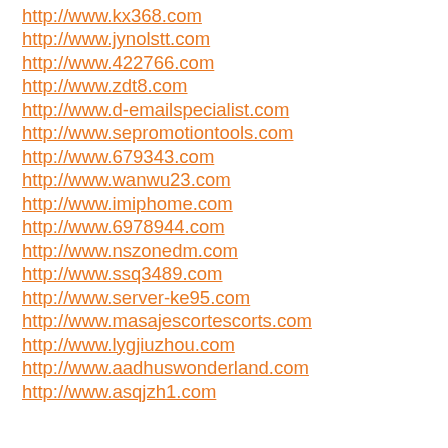http://www.kx368.com
http://www.jynolstt.com
http://www.422766.com
http://www.zdt8.com
http://www.d-emailspecialist.com
http://www.sepromotiontools.com
http://www.679343.com
http://www.wanwu23.com
http://www.imiphome.com
http://www.6978944.com
http://www.nszonedm.com
http://www.ssq3489.com
http://www.server-ke95.com
http://www.masajescortescorts.com
http://www.lygjiuzhou.com
http://www.aadhuswonderland.com
http://www.asqjzh1.com